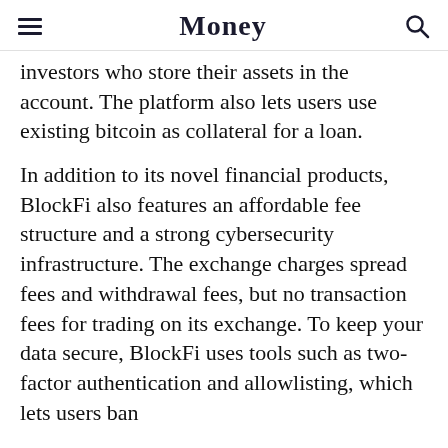Money
investors who store their assets in the account. The platform also lets users use existing bitcoin as collateral for a loan.
In addition to its novel financial products, BlockFi also features an affordable fee structure and a strong cybersecurity infrastructure. The exchange charges spread fees and withdrawal fees, but no transaction fees for trading on its exchange. To keep your data secure, BlockFi uses tools such as two-factor authentication and allowlisting, which lets users ban